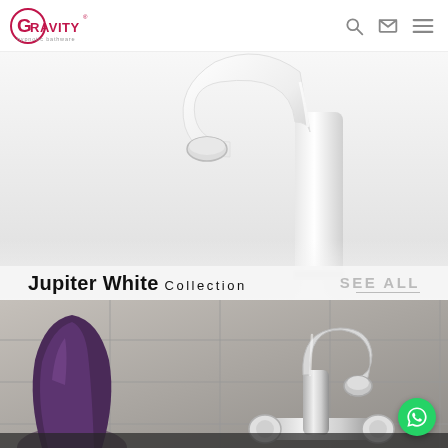[Figure (logo): Gravity hypnotic bathware logo in red with tagline]
[Figure (photo): White bathroom faucet tap close-up on light grey background with Jupiter White Collection label and SEE ALL link]
Jupiter White Collection   SEE ALL
[Figure (photo): Chrome bathroom sink faucet with dark purple vase and grey tile background, WhatsApp contact button in bottom right]